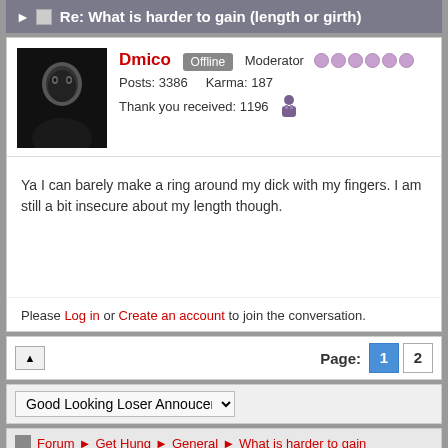Re: What is harder to gain (length or girth)
Dmico  Offline  Moderator  Posts: 3386  Karma: 187  Thank you received: 1196
Ya I can barely make a ring around my dick with my fingers. I am still a bit insecure about my length though.
Please Log in or Create an account to join the conversation.
Page: 1 2
Good Looking Loser Annoucer
Forum ▶ Get Hung ▶ General ▶ What is harder to gain (length or girth)